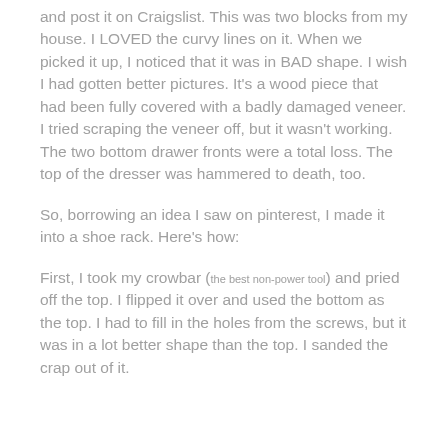and post it on Craigslist. This was two blocks from my house. I LOVED the curvy lines on it. When we picked it up, I noticed that it was in BAD shape. I wish I had gotten better pictures. It's a wood piece that had been fully covered with a badly damaged veneer. I tried scraping the veneer off, but it wasn't working. The two bottom drawer fronts were a total loss. The top of the dresser was hammered to death, too.
So, borrowing an idea I saw on pinterest, I made it into a shoe rack. Here's how:
First, I took my crowbar (the best non-power tool) and pried off the top. I flipped it over and used the bottom as the top. I had to fill in the holes from the screws, but it was in a lot better shape than the top. I sanded the crap out of it.